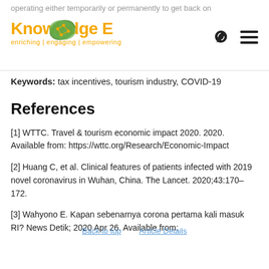operating either temporarily or permanently to get back on
[Figure (logo): Knowledge E logo with leaf/network icon and tagline: enriching | engaging | empowering]
Keywords: tax incentives, tourism industry, COVID-19
References
[1] WTTC. Travel & tourism economic impact 2020. 2020. Available from: https://wttc.org/Research/Economic-Impact
[2] Huang C, et al. Clinical features of patients infected with 2019 novel coronavirus in Wuhan, China. The Lancet. 2020;43:170–172.
[3] Wahyono E. Kapan sebenarnya corona pertama kali masuk RI? News Detik; 2020 Apr 26. Available from: